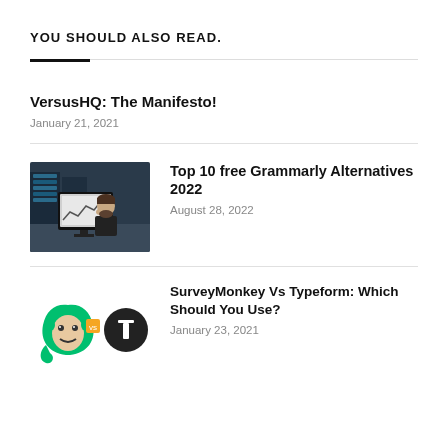YOU SHOULD ALSO READ.
VersusHQ: The Manifesto!
January 21, 2021
Top 10 free Grammarly Alternatives 2022
August 28, 2022
SurveyMonkey Vs Typeform: Which Should You Use?
January 23, 2021